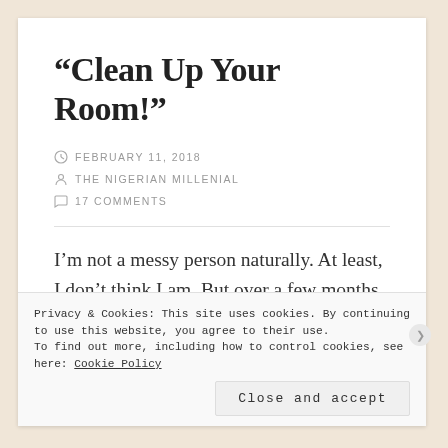“Clean Up Your Room!”
FEBRUARY 11, 2018
THE NIGERIAN MILLENIAL
17 COMMENTS
I’m not a messy person naturally. At least, I don’t think I am. But over a few months, I started slipping up, and it began as most habits do.... with a shrug
Privacy & Cookies: This site uses cookies. By continuing to use this website, you agree to their use.
To find out more, including how to control cookies, see here: Cookie Policy
Close and accept